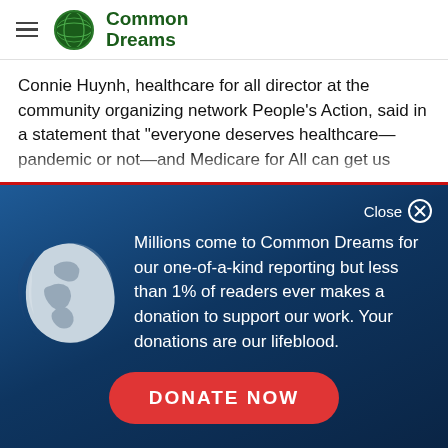Common Dreams
Connie Huynh, healthcare for all director at the community organizing network People's Action, said in a statement that "everyone deserves healthcare—pandemic or not—and Medicare for All can get us
[Figure (screenshot): Common Dreams donation modal overlay with globe icon, text about millions coming to Common Dreams for one-of-a-kind reporting but less than 1% of readers ever makes a donation to support our work. Your donations are our lifeblood. Includes a DONATE NOW button.]
Millions come to Common Dreams for our one-of-a-kind reporting but less than 1% of readers ever makes a donation to support our work. Your donations are our lifeblood.
DONATE NOW